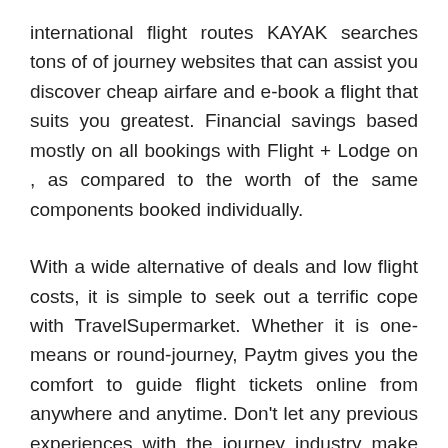international flight routes KAYAK searches tons of of journey websites that can assist you discover cheap airfare and e-book a flight that suits you greatest. Financial savings based mostly on all bookings with Flight + Lodge on , as compared to the worth of the same components booked individually.
With a wide alternative of deals and low flight costs, it is simple to seek out a terrific cope with TravelSupermarket. Whether it is one-means or round-journey, Paytm gives you the comfort to guide flight tickets online from anywhere and anytime. Don't let any previous experiences with the journey industry make you jaded. To conserve knowledge bandwidth, times out after 30 minutes.